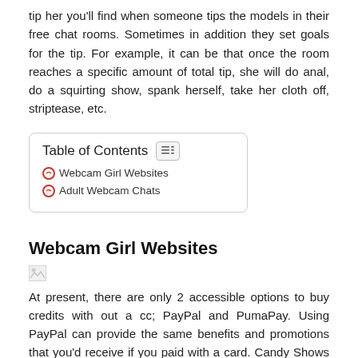tip her you'll find when someone tips the models in their free chat rooms. Sometimes in addition they set goals for the tip. For example, it can be that once the room reaches a specific amount of total tip, she will do anal, do a squirting show, spank herself, take her cloth off, striptease, etc.
| Table of Contents |
| --- |
| Webcam Girl Websites |
| Adult Webcam Chats |
Webcam Girl Websites
[Figure (photo): Broken/missing image placeholder]
At present, there are only 2 accessible options to buy credits with out a cc; PayPal and PumaPay. Using PayPal can provide the same benefits and promotions that you'd receive if you paid with a card. Candy Shows are cutting